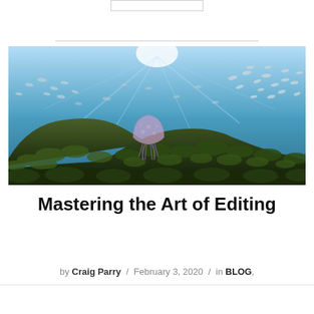[Figure (photo): Underwater photograph showing a jellyfish resting on algae-covered rocks, with a school of silver fish swimming in the blue water above, and bright sunlight shining through the surface from above.]
Mastering the Art of Editing
by Craig Parry / February 3, 2020 / in BLOG,